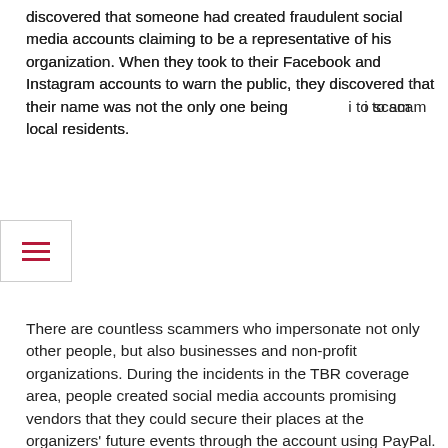discovered that someone had created fraudulent social media accounts claiming to be a representative of his organization. When they took to their Facebook and Instagram accounts to warn the public, they discovered that their name was not the only one being used to scam local residents.
There are countless scammers who impersonate not only other people, but also businesses and non-profit organizations. During the incidents in the TBR coverage area, people created social media accounts promising vendors that they could secure their places at the organizers' future events through the account using PayPal.
Incidents are just another reminder that browsing social media is the same as browsing the web: you can't take anyone's word for it.
The best thing to do when someone approaches you on social media asking for money — just like you would on the web and on the phone — is to ask if you can meet them. If they keep insisting you pay now, chances are they're not who they say they are.